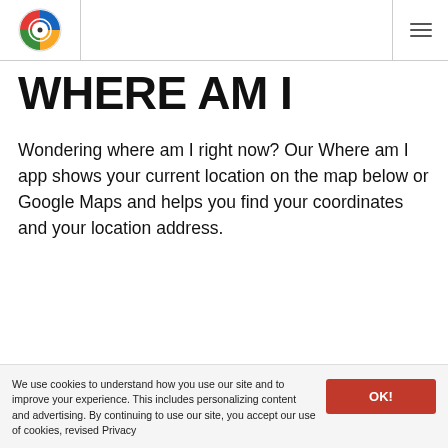[Figure (logo): Circular logo with compass/globe design in red, blue, green, and yellow quadrants]
WHERE AM I
Wondering where am I right now? Our Where am I app shows your current location on the map below or Google Maps and helps you find your coordinates and your location address.
We use cookies to understand how you use our site and to improve your experience. This includes personalizing content and advertising. By continuing to use our site, you accept our use of cookies, revised Privacy